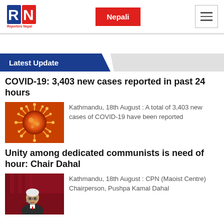[Figure (logo): Reporters Nepal RN logo in blue and red]
Nepali
Latest Update
COVID-19: 3,403 new cases reported in past 24 hours
[Figure (photo): Close-up illustration of coronavirus particle in orange/red tones]
Kathmandu, 18th August : A total of 3,403 new cases of COVID-19 have been reported
Unity among dedicated communists is need of hour: Chair Dahal
[Figure (photo): Photo of Pushpa Kamal Dahal speaking at podium with red curtain background]
Kathmandu, 18th August : CPN (Maoist Centre) Chairperson, Pushpa Kamal Dahal